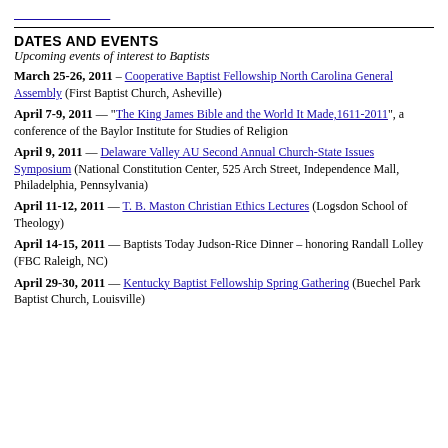[link at top]
DATES AND EVENTS
Upcoming events of interest to Baptists
March 25-26, 2011 – Cooperative Baptist Fellowship North Carolina General Assembly (First Baptist Church, Asheville)
April 7-9, 2011 — "The King James Bible and the World It Made,1611-2011", a conference of the Baylor Institute for Studies of Religion
April 9, 2011 — Delaware Valley AU Second Annual Church-State Issues Symposium (National Constitution Center, 525 Arch Street, Independence Mall, Philadelphia, Pennsylvania)
April 11-12, 2011 — T. B. Maston Christian Ethics Lectures (Logsdon School of Theology)
April 14-15, 2011 — Baptists Today Judson-Rice Dinner – honoring Randall Lolley (FBC Raleigh, NC)
April 29-30, 2011 — Kentucky Baptist Fellowship Spring Gathering (Buechel Park Baptist Church, Louisville)